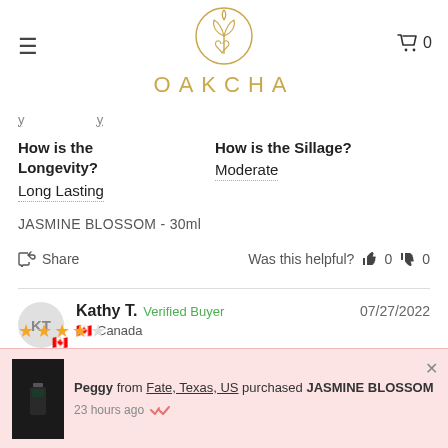[Figure (logo): OAKCHA brand logo: circular botanical leaf emblem above the word OAKCHA in gold spaced letters]
How is the Longevity?
Long Lasting
How is the Sillage?
Moderate
JASMINE BLOSSOM - 30ml
Share   Was this helpful?  👍 0  👎 0
Kathy T.  Verified Buyer   07/27/2022
🇨🇦 Canada
Peggy from Fate, Texas, US purchased JASMINE BLOSSOM
23 hours ago